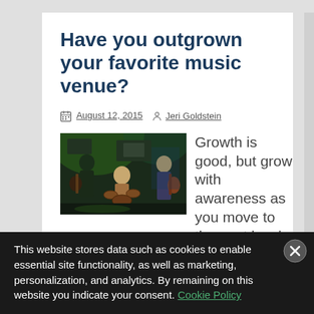Have you outgrown your favorite music venue?
August 12, 2015  Jeri Goldstein
[Figure (photo): Band performing on stage: musicians playing guitars and drums in a dark venue with green stage lighting]
Growth is good, but grow with awareness as you move to the next level. The
This website stores data such as cookies to enable essential site functionality, as well as marketing, personalization, and analytics. By remaining on this website you indicate your consent. Cookie Policy